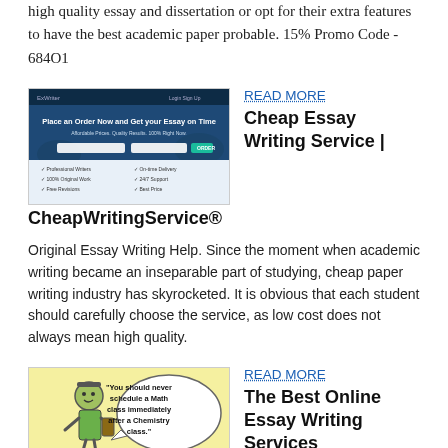high quality essay and dissertation or opt for their extra features to have the best academic paper probable. 15% Promo Code - 684O1
[Figure (screenshot): Screenshot of CheapWritingService website showing 'Place an Order Now and Get your Essay on Time' header with form fields]
READ MORE
Cheap Essay Writing Service | CheapWritingService®
Original Essay Writing Help. Since the moment when academic writing became an inseparable part of studying, cheap paper writing industry has skyrocketed. It is obvious that each student should carefully choose the service, as low cost does not always mean high quality.
[Figure (illustration): Cartoon illustration of a student with speech bubble: 'You should never schedule a Math class immediately after a Chemistry class.']
READ MORE
The Best Online Essay Writing Services